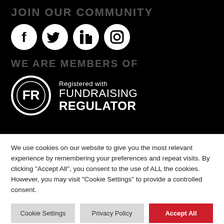JOIN OUR COMMUNITY
[Figure (illustration): Four social media icons in white on black circles: Facebook, Twitter, LinkedIn, Instagram]
WE ARE MEMBERS OF
[Figure (logo): Fundraising Regulator logo: circular FR badge with text 'Registered with FUNDRAISING REGULATOR']
We use cookies on our website to give you the most relevant experience by remembering your preferences and repeat visits. By clicking "Accept All", you consent to the use of ALL the cookies. However, you may visit "Cookie Settings" to provide a controlled consent.
Cookie Settings | Privacy Policy | Accept All